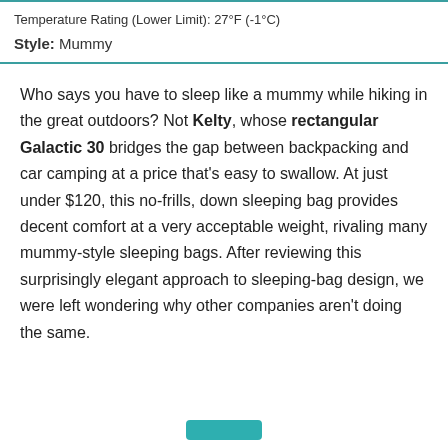Temperature Rating (Lower Limit): 27°F (-1°C)
Style: Mummy
Who says you have to sleep like a mummy while hiking in the great outdoors? Not Kelty, whose rectangular Galactic 30 bridges the gap between backpacking and car camping at a price that's easy to swallow. At just under $120, this no-frills, down sleeping bag provides decent comfort at a very acceptable weight, rivaling many mummy-style sleeping bags. After reviewing this surprisingly elegant approach to sleeping-bag design, we were left wondering why other companies aren't doing the same.